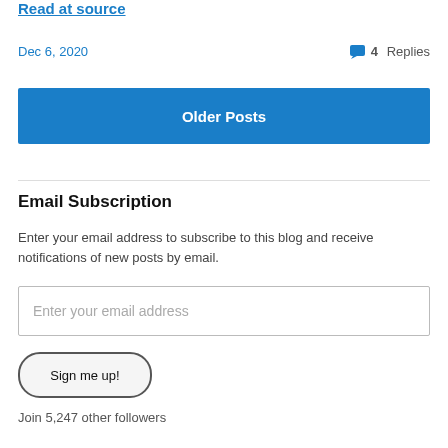Read at source
Dec 6, 2020
4 Replies
Older Posts
Email Subscription
Enter your email address to subscribe to this blog and receive notifications of new posts by email.
Enter your email address
Sign me up!
Join 5,247 other followers